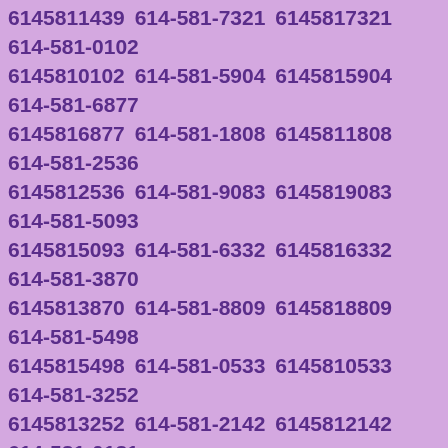6145811439 614-581-7321 6145817321 614-581-0102 6145810102 614-581-5904 6145815904 614-581-6877 6145816877 614-581-1808 6145811808 614-581-2536 6145812536 614-581-9083 6145819083 614-581-5093 6145815093 614-581-6332 6145816332 614-581-3870 6145813870 614-581-8809 6145818809 614-581-5498 6145815498 614-581-0533 6145810533 614-581-3252 6145813252 614-581-2142 6145812142 614-581-0181 6145810181 614-581-0250 6145810250 614-581-2052 6145812052 614-581-2134 6145812134 614-581-8896 6145818896 614-581-8062 6145818062 614-581-3205 6145813205 614-581-9750 6145819750 614-581-1992 6145811992 614-581-1966 6145811966 614-581-9591 6145819591 614-581-5058 6145815058 614-581-7387 6145817387 614-581-5394 6145815394 614-581-4273 6145814273 614-581-1820 6145811820 614-581-3563 6145813563 614-581-9974 6145819974 614-581-3114 6145813114 614-581-8586 6145818586 614-581-5836 6145815836 614-581-4047 6145814047 614-581-9859 6145819859 614-581-9372 6145819372 614-581-7326 6145817326 614-581-2058 6145812058 614-581-9922